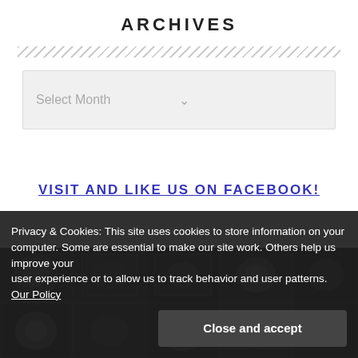ARCHIVES
[Figure (screenshot): Dropdown select widget with placeholder text 'Select Month' and a chevron/arrow icon on the right, styled with light gray background]
[Figure (photo): Background image of medical scans / dental X-ray images arranged in a grid on a dark background]
VISIT AND LIKE US ON FACEBOOK!
Privacy & Cookies: This site uses cookies to store information on your computer. Some are essential to make our site work. Others help us improve your user experience or to allow us to track behavior and user patterns. Our Policy
Close and accept